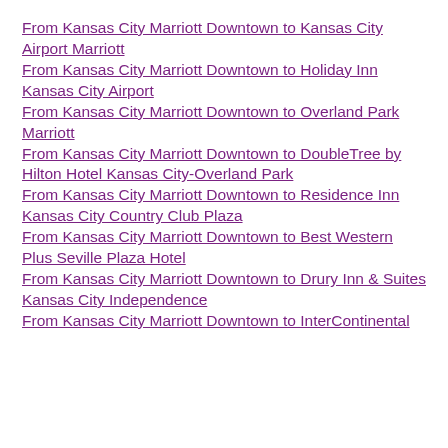From Kansas City Marriott Downtown to Kansas City Airport Marriott
From Kansas City Marriott Downtown to Holiday Inn Kansas City Airport
From Kansas City Marriott Downtown to Overland Park Marriott
From Kansas City Marriott Downtown to DoubleTree by Hilton Hotel Kansas City-Overland Park
From Kansas City Marriott Downtown to Residence Inn Kansas City Country Club Plaza
From Kansas City Marriott Downtown to Best Western Plus Seville Plaza Hotel
From Kansas City Marriott Downtown to Drury Inn & Suites Kansas City Independence
From Kansas City Marriott Downtown to InterContinental